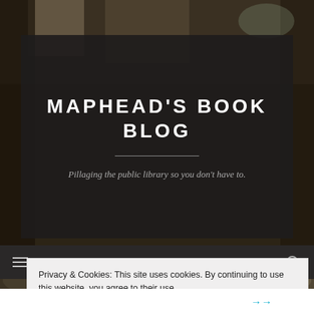[Figure (photo): Background photo of an open book/library interior, dark and blurred]
MAPHEAD'S BOOK BLOG
Pillaging the public library so you don't have to.
Privacy & Cookies: This site uses cookies. By continuing to use this website, you agree to their use.
To find out more, including how to control cookies, see here: Cookie Policy
Close and accept